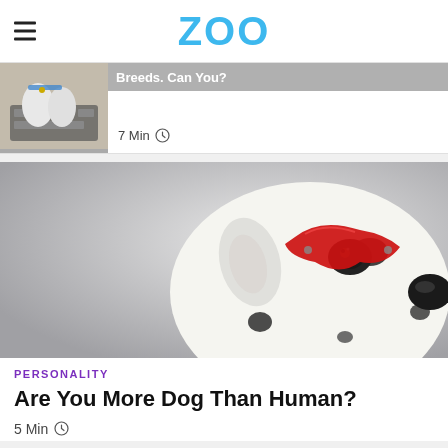ZOO
[Figure (photo): Dog with paws on keyboard, photo thumbnail for article about dog breeds]
Breeds. Can You?
7 Min
[Figure (photo): Dalmatian dog wearing a red masquerade mask on grey background]
PERSONALITY
Are You More Dog Than Human?
5 Min